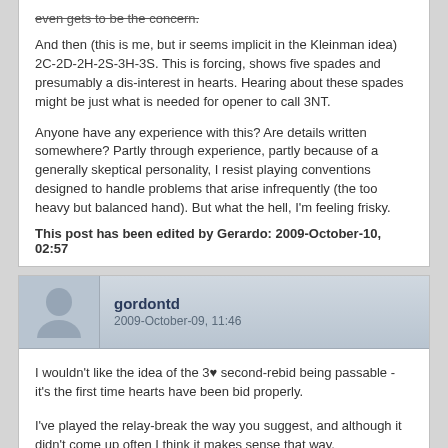And then (this is me, but ir seems implicit in the Kleinman idea) 2C-2D-2H-2S-3H-3S. This is forcing, shows five spades and presumably a dis-interest in hearts. Hearing about these spades might be just what is needed for opener to call 3NT.
Anyone have any experience with this? Are details written somewhere? Partly through experience, partly because of a generally skeptical personality, I resist playing conventions designed to handle problems that arise infrequently (the too heavy but balanced hand). But what the hell, I'm feeling frisky.
This post has been edited by Gerardo: 2009-October-10, 02:57
gordontd
2009-October-09, 11:46
I wouldn't like the idea of the 3♥ second-rebid being passable - it's the first time hearts have been bid properly.
I've played the relay-break the way you suggest, and although it didn't come up often I think it makes sense that way.